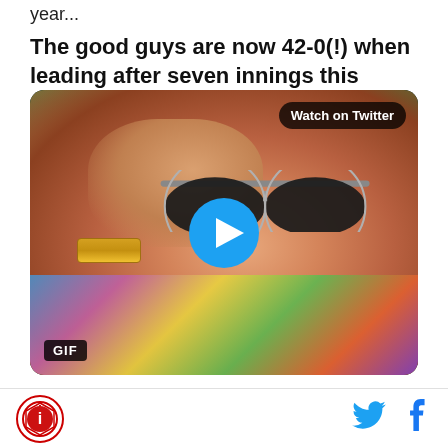year...
The good guys are now 42-0(!) when leading after seven innings this season
[Figure (screenshot): Embedded tweet media player showing a GIF of a surprised man (Chris Farley) wearing sunglasses pulling them down, with a 'Watch on Twitter' badge in top right corner and a blue play button in the center, and a GIF badge in the bottom left.]
Logo icon on left; Twitter and Facebook icons on right